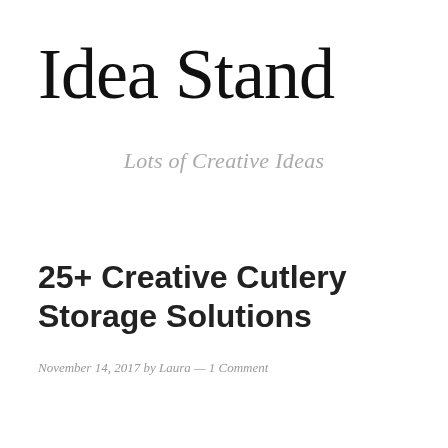Idea Stand
Lots of Creative Ideas
25+ Creative Cutlery Storage Solutions
November 14, 2017 by Laura — 1 Comment